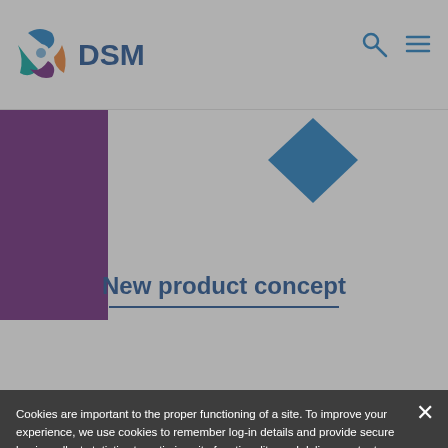[Figure (logo): DSM company logo with colorful swirl icon and 'DSM' text in blue]
[Figure (illustration): Blue diamond/tag shape partially visible behind white card on purple background]
New product concept
Cookies are important to the proper functioning of a site. To improve your experience, we use cookies to remember log-in details and provide secure log-in, collect statistics to optimize site functionality, and deliver content tailored to your interests. You may choose to consent to our use of these technologies, or manage your own preferences.
Privacy
ACCEPT ALL
DECLINE ALL
MANAGE SETTINGS